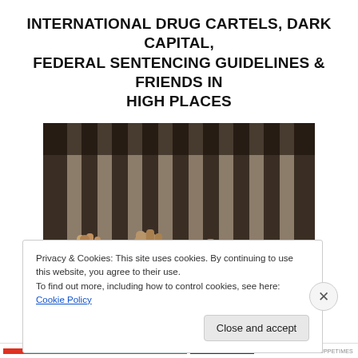INTERNATIONAL DRUG CARTELS, DARK CAPITAL, FEDERAL SENTENCING GUIDELINES & FRIENDS IN HIGH PLACES
[Figure (photo): Hands gripping jail/prison bars, close-up photograph, dark and moody lighting]
Privacy & Cookies: This site uses cookies. By continuing to use this website, you agree to their use.
To find out more, including how to control cookies, see here: Cookie Policy
Close and accept